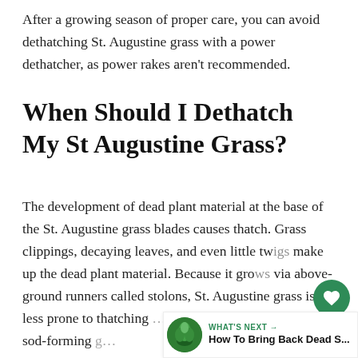After a growing season of proper care, you can avoid dethatching St. Augustine grass with a power dethatcher, as power rakes aren't recommended.
When Should I Dethatch My St Augustine Grass?
The development of dead plant material at the base of the St. Augustine grass blades causes thatch. Grass clippings, decaying leaves, and even little twigs make up the dead plant material. Because it grows via above-ground runners called stolons, St. Augustine grass is less prone to thatching than most other varieties of sod-forming g…